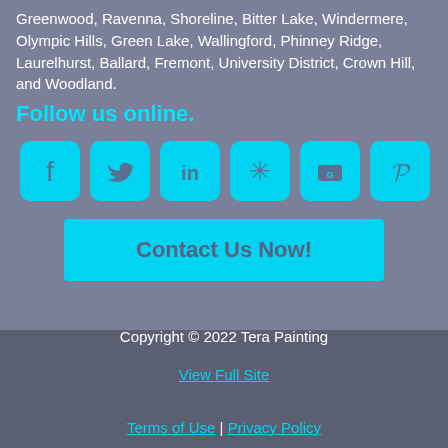Greenwood, Ravenna, Shoreline, Bitter Lake, Windermere, Olympic Hills, Green Lake, Wallingford, Phinney Ridge, Laurelhurst, Ballard, Fremont, University District, Crown Hill, and Woodland.
Follow us online.
[Figure (other): Row of six cyan social media icons: Facebook, Twitter, LinkedIn, Yelp, Google, Pinterest]
Contact Us Now!
Copyright © 2022 Tera Painting
View Full Site
Terms of Use | Privacy Policy